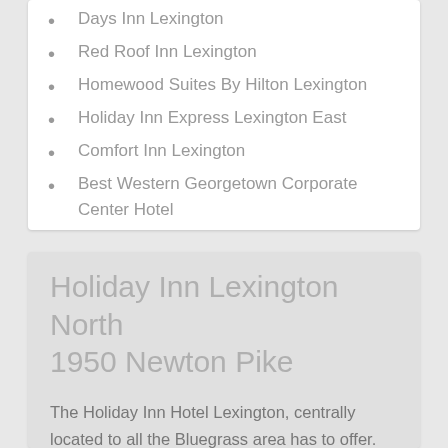Days Inn Lexington
Red Roof Inn Lexington
Homewood Suites By Hilton Lexington
Holiday Inn Express Lexington East
Comfort Inn Lexington
Best Western Georgetown Corporate Center Hotel
Holiday Inn Lexington North
1950 Newton Pike
The Holiday Inn Hotel Lexington, centrally located to all the Bluegrass area has to offer. Minutes from Bluegrass Airport, University of Kentucky, Keeneland Race Track, Kentucky Horse Park, Kentucky Basketball Academy, US AllStar Baseball Complex, Lexmark, IBM, Toyota and downtown Lexington. Within a 30 mile